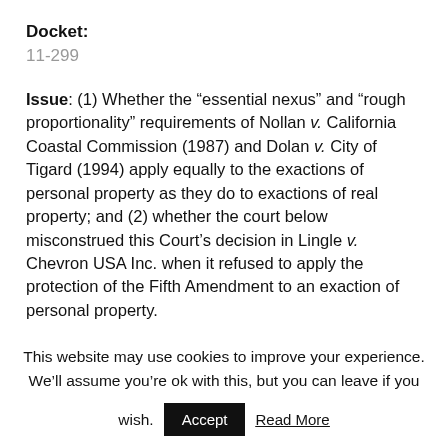Docket:
11-299
Issue: (1) Whether the “essential nexus” and “rough proportionality” requirements of Nollan v. California Coastal Commission (1987) and Dolan v. City of Tigard (1994) apply equally to the exactions of personal property as they do to exactions of real property; and (2) whether the court below misconstrued this Court’s decision in Lingle v. Chevron USA Inc. when it refused to apply the protection of the Fifth Amendment to an exaction of personal property.
Certiorari-stage documents
This website may use cookies to improve your experience. We’ll assume you’re ok with this, but you can leave if you wish.